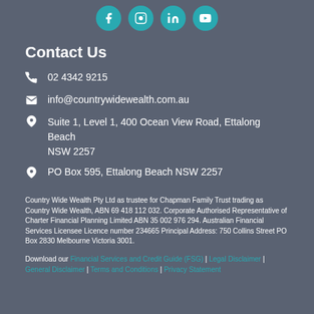[Figure (illustration): Four teal circular social media icons for Facebook, Instagram, LinkedIn, and YouTube]
Contact Us
02 4342 9215
info@countrywidewealth.com.au
Suite 1, Level 1, 400 Ocean View Road, Ettalong Beach NSW 2257
PO Box 595, Ettalong Beach NSW 2257
Country Wide Wealth Pty Ltd as trustee for Chapman Family Trust trading as Country Wide Wealth, ABN 69 418 112 032. Corporate Authorised Representative of Charter Financial Planning Limited ABN 35 002 976 294. Australian Financial Services Licensee Licence number 234665 Principal Address: 750 Collins Street PO Box 2830 Melbourne Victoria 3001.
Download our Financial Services and Credit Guide (FSG) | Legal Disclaimer | General Disclaimer | Terms and Conditions | Privacy Statement